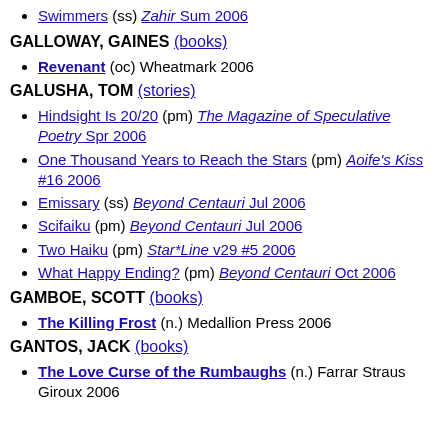Swimmers (ss) Zahir Sum 2006
GALLOWAY, GAINES (books)
Revenant (oc) Wheatmark 2006
GALUSHA, TOM (stories)
Hindsight Is 20/20 (pm) The Magazine of Speculative Poetry Spr 2006
One Thousand Years to Reach the Stars (pm) Aoife's Kiss #16 2006
Emissary (ss) Beyond Centauri Jul 2006
Scifaiku (pm) Beyond Centauri Jul 2006
Two Haiku (pm) Star*Line v29 #5 2006
What Happy Ending? (pm) Beyond Centauri Oct 2006
GAMBOE, SCOTT (books)
The Killing Frost (n.) Medallion Press 2006
GANTOS, JACK (books)
The Love Curse of the Rumbaughs (n.) Farrar Straus Giroux 2006